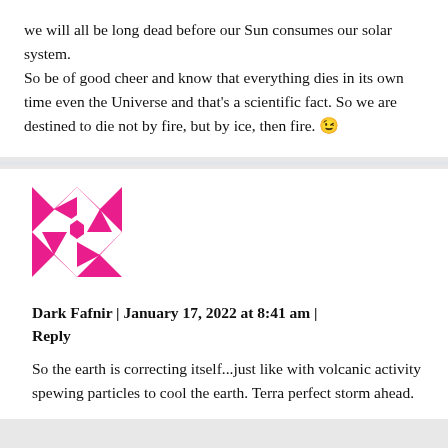we will all be long dead before our Sun consumes our solar system.
So be of good cheer and know that everything dies in its own time even the Universe and that's a scientific fact. So we are destined to die not by fire, but by ice, then fire. 😉
[Figure (illustration): Pink and white geometric star/pinwheel avatar icon for user Dark Fafnir]
Dark Fafnir | January 17, 2022 at 8:41 am | Reply
So the earth is correcting itself...just like with volcanic activity spewing particles to cool the earth. Terra perfect storm ahead.